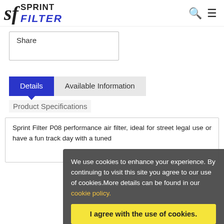[Figure (logo): Sprint Filter logo with 'sf' in serif italic and 'SPRINT FILTER' text]
Share
Details
Available Information
Product Specifications
Sprint Filter P08 performance air filter, ideal for street legal use or have a fun track day with a tuned
We use cookies to enhance your experience. By continuing to visit this site you agree to our use of cookies.More details can be found in our cookie policy.
I agree with the use of cookies.